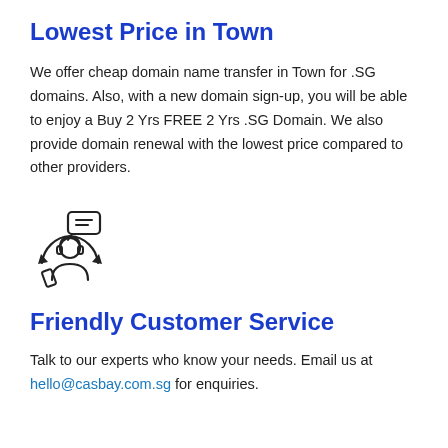Lowest Price in Town
We offer cheap domain name transfer in Town for .SG domains. Also, with a new domain sign-up, you will be able to enjoy a Buy 2 Yrs FREE 2 Yrs .SG Domain. We also provide domain renewal with the lowest price compared to other providers.
[Figure (illustration): Customer service / support agent icon with chat bubble and circular arrows, line art style]
Friendly Customer Service
Talk to our experts who know your needs. Email us at hello@casbay.com.sg for enquiries.